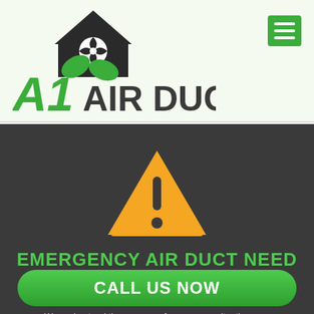[Figure (logo): A1 Air Duct logo with house/fan icon and green leaves, company name 'A1 AIR DUCT' in green bold text]
[Figure (other): Green hamburger menu button (three horizontal lines) in top right corner]
[Figure (other): Orange/yellow warning triangle with exclamation mark on dark gray background]
EMERGENCY AIR DUCT NEED
CALL US NOW
We understand the urgency of emergency situations, so